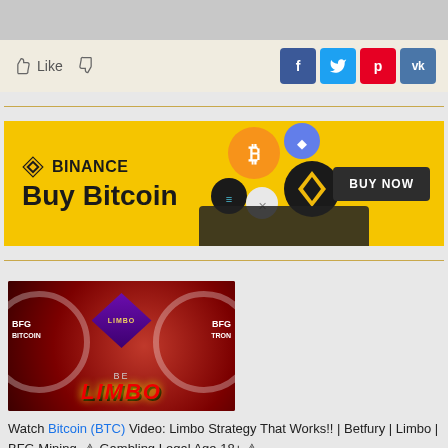[Figure (screenshot): Top gray banner area]
[Figure (infographic): Like/dislike thumbs icons and social share buttons: Facebook, Twitter, Pinterest, VK]
[Figure (infographic): Binance advertisement banner: Buy Bitcoin with BUY NOW button, crypto coin icons, keyboard image]
[Figure (photo): Video thumbnail for Bitcoin BTC Limbo Strategy BFG Mining Betfury gaming video with red background and LIMBO text]
Watch Bitcoin (BTC) Video: Limbo Strategy That Works!! | Betfury | Limbo | BFG Mining. ⚠ Gambling Legal Age 18+ ⚠
Click "Show More" ↓